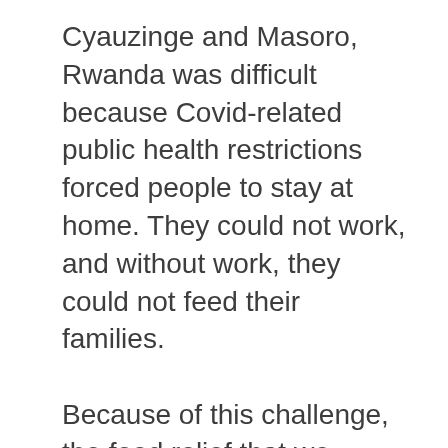Cyauzinge and Masoro, Rwanda was difficult because Covid-related public health restrictions forced people to stay at home.  They could not work, and without work, they could not feed their families.
Because of this challenge, the food relief that we provided by this project brought great joy to many hungry families.
As the Covid restrictions continued, it was clear that the neediest families would need more help.  We worked with